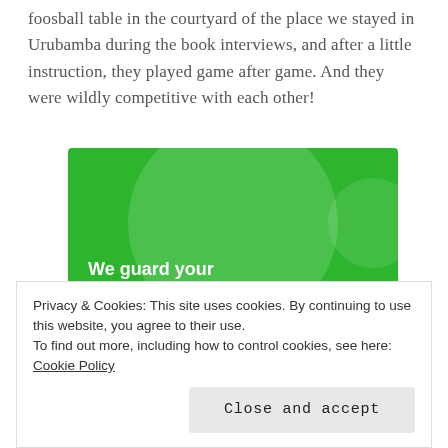foosball table in the courtyard of the place we stayed in Urubamba during the book interviews, and after a little instruction, they played game after game. And they were wildly competitive with each other!
[Figure (illustration): Green advertisement banner for WordPress security service. Text reads 'We guard your WordPress site. You run your business.' with a 'Secure Your Site' button.]
Privacy & Cookies: This site uses cookies. By continuing to use this website, you agree to their use.
To find out more, including how to control cookies, see here: Cookie Policy
Close and accept